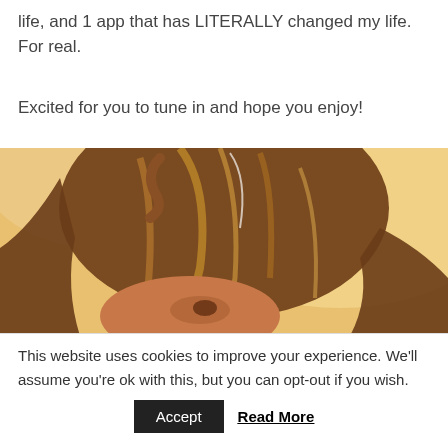life, and 1 app that has LITERALLY changed my life. For real.
Excited for you to tune in and hope you enjoy!
[Figure (photo): Top portion of a person's head with brown/blonde highlighted hair, looking upward, bright backlit photo]
This website uses cookies to improve your experience. We'll assume you're ok with this, but you can opt-out if you wish.
Accept  Read More